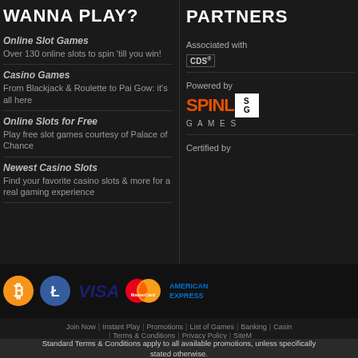WANNA PLAY?
Online Slot Games
Over 130 online slots to spin 'till you win!
Casino Games
From Blackjack & Roulette to Pai Gow: it's all here
Online Slots for Free
Play free slot games courtesy of Palace of Chance
Newest Casino Slots
Find your favorite casino slots & more for a real gaming experience
PARTNERS
Associated with CDS
Powered by SPINLOGIC GAMES
Certified by
[Figure (logo): Payment icons: Bitcoin, Litecoin, VISA, MasterCard, American Express]
Join Now | Instant Play | Promotions | List of Games | Banking | Casino | Terms & Conditions | Privacy Policy | SiteM
Standard Terms & Conditions apply to all available promotions, unless specifically stated otherwise.